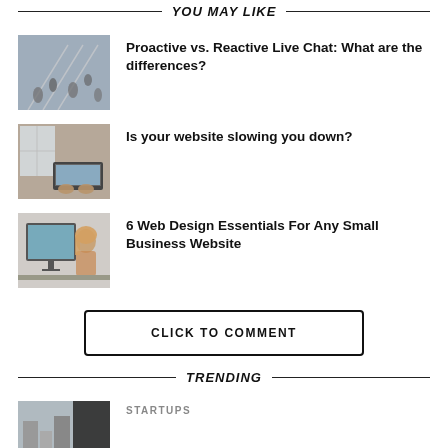YOU MAY LIKE
Proactive vs. Reactive Live Chat: What are the differences?
Is your website slowing you down?
6 Web Design Essentials For Any Small Business Website
CLICK TO COMMENT
TRENDING
STARTUPS